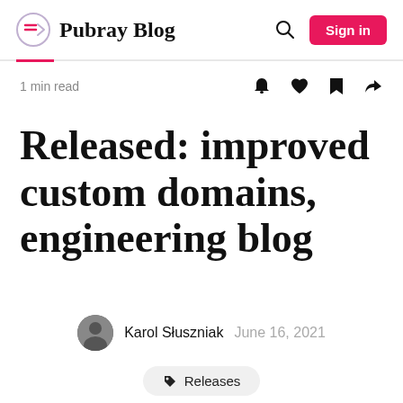Pubray Blog
1 min read
Released: improved custom domains, engineering blog
Karol Słuszniak  June 16, 2021
Releases